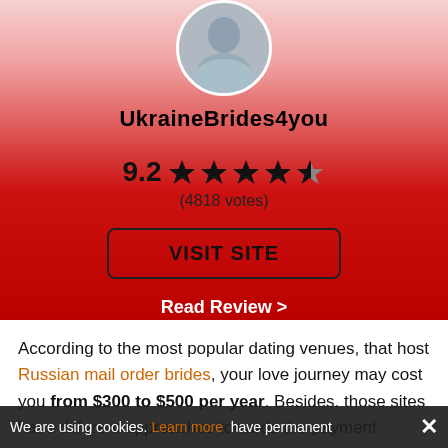[Figure (photo): Circular profile photo of a woman at the top of the card, partially cropped, showing upper body in a light blue/grey outfit]
UkraineBrides4you
9.2 ★★★★½
(4818 votes)
VISIT SITE
Read Review >
According to the most popular dating venues, that host Russian mail order brides, your love journey may cost you from $300 to $500 per year. Besides, those sites have different approaches towards the payment... have permanent
We are using cookies. Learn more